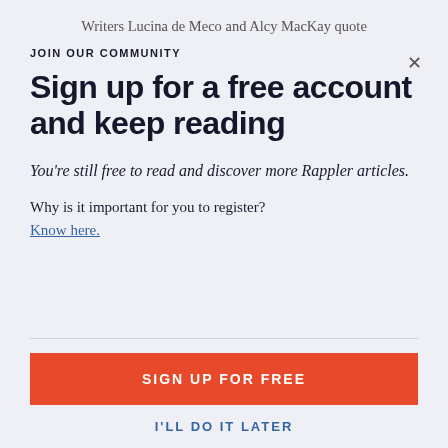Writers Lucina de Meco and Alcy MacKay quote
JOIN OUR COMMUNITY
Sign up for a free account and keep reading
You're still free to read and discover more Rappler articles.
Why is it important for you to register?
Know here.
SIGN UP FOR FREE
I'LL DO IT LATER